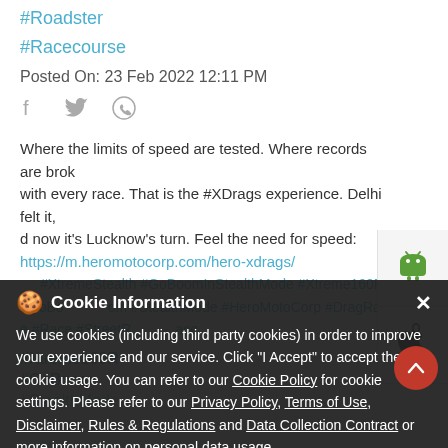#Roadster
#Racecourse
Posted On: 23 Feb 2022 12:11 PM
[Figure (other): Social share icons: Facebook, Twitter, WhatsApp]
[Figure (other): Android and Apple app store icons in side panel]
Where the limits of speed are tested. Where records are broken with every race. That is the #XDrags experience. Delhi felt it, and now it's Lucknow's turn. Feel the need for speed: https://m.heromotocorp.com/hero-xdrags/ #XtremeStealth #GoBoomInStealthMode #Xtreme160R #GoBoom #StealthMode #HeroMotoCorp #DragRace #Race #StreetRace
#Xtreme160R
#GoBoom
#StealthMode
Cookie Information
We use cookies (including third party cookies) in order to improve your experience and our service. Click "I Accept" to accept the cookie usage. You can refer to our Cookie Policy for cookie settings. Please refer to our Privacy Policy, Terms of Use, Disclaimer, Rules & Regulations and Data Collection Contract or more information on personal data usage.